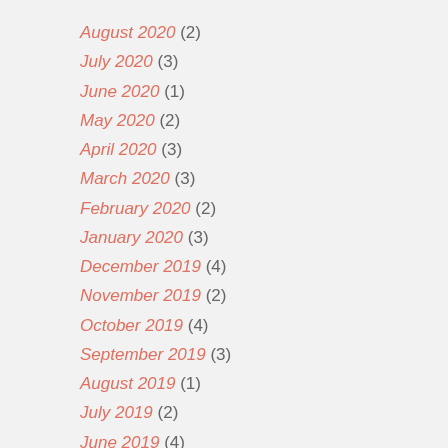August 2020 (2)
July 2020 (3)
June 2020 (1)
May 2020 (2)
April 2020 (3)
March 2020 (3)
February 2020 (2)
January 2020 (3)
December 2019 (4)
November 2019 (2)
October 2019 (4)
September 2019 (3)
August 2019 (1)
July 2019 (2)
June 2019 (4)
May 2019 (2)